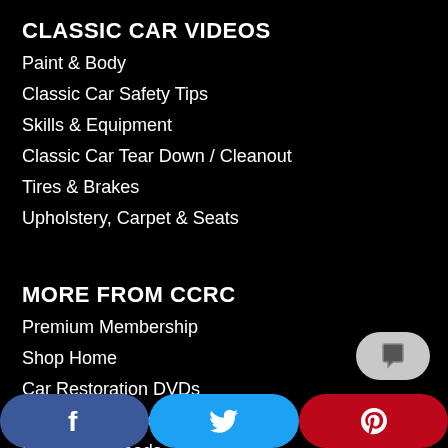CLASSIC CAR VIDEOS
Paint & Body
Classic Car Safety Tips
Skills & Equipment
Classic Car Tear Down / Cleanout
Tires & Brakes
Upholstery, Carpet & Seats
MORE FROM CCRC
Premium Membership
Shop Home
Car Restoration DVDs
Current Shop Deals
Video Downloads
Classic Car Member Ride
[Figure (other): Chat button (rounded rectangle with chat bubble icon)]
[Figure (other): Bottom social share bar with Facebook, Twitter, and Pinterest buttons]